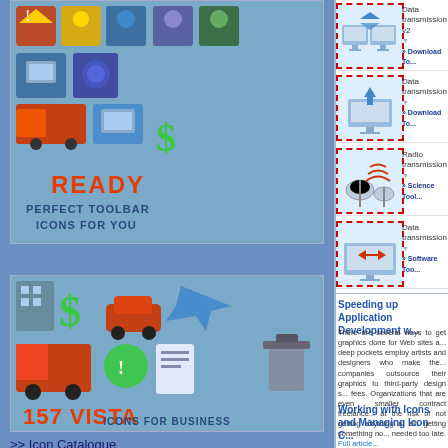[Figure (illustration): Banner: READY PERFECT TOOLBAR ICONS FOR YOU with colorful toolbar icons]
[Figure (illustration): Banner: 157 VISTA ICONS FOR BUSINESS with various business icons]
>> Icon Catalogue
[Figure (illustration): Data transmission v2 icon — two monitors with arrow]
Data transmission v2
Download To...
[Figure (illustration): Data transmission icon — monitor with upload arrow]
Data transmission
Download To...
[Figure (illustration): Radio transmission icon — satellite dishes]
Radio transmission
Science Tool...
[Figure (illustration): Data transmission icon — monitor with red arrows]
Data transmission
Software Too...
Speeding up Application Development w...
There are several ways to get graphics done for Web sites a... deep pockets employ artists and designers who make the... companies outsource their graphics to third-party design s... fees. Organizations that are even smaller contract freelance... at the risk of not getting anything at all, getting something no... needed too late. Full article...
Working with Icons and Managing Icon C...
Are you a Web designer, an artist creating icons for software... and application icons? Sib Icon Studio offers an easy way t... perform necessary touch-ups and modifications to the icons.
Creating Icons